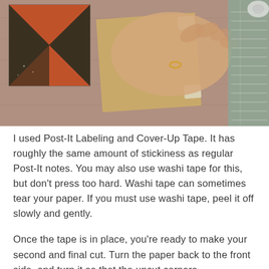[Figure (photo): A hand placing or holding a kraft/beige paper sheet on a wooden surface, next to a quilt block with orange and dark triangles, with a cutting mat and ruler visible on the right. Post-It tape squares are visible on the paper.]
I used Post-It Labeling and Cover-Up Tape. It has roughly the same amount of stickiness as regular Post-It notes. You may also use washi tape for this, but don't press too hard. Washi tape can sometimes tear your paper. If you must use washi tape, peel it off slowly and gently.
Once the tape is in place, you're ready to make your second and final cut. Turn the paper back to the front side, and turn it so that the uncut corners